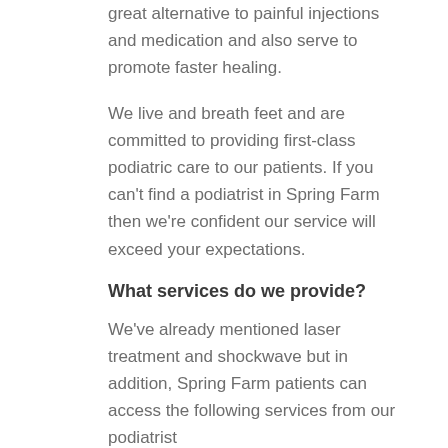great alternative to painful injections and medication and also serve to promote faster healing.
We live and breath feet and are committed to providing first-class podiatric care to our patients. If you can't find a podiatrist in Spring Farm then we're confident our service will exceed your expectations.
What services do we provide?
We've already mentioned laser treatment and shockwave but in addition, Spring Farm patients can access the following services from our podiatrist
Orthotics
Medical grade footwear